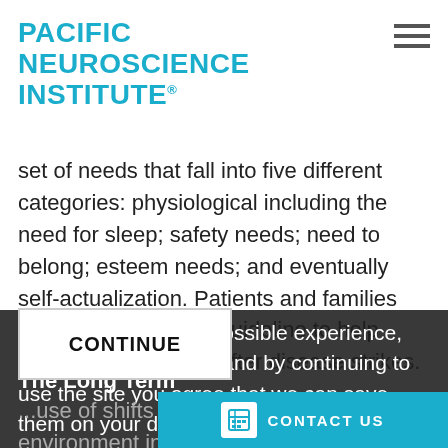PACIFIC NEUROSCIENCE INSTITUTE®
set of needs that fall into five different categories: physiological including the need for sleep; safety needs; need to belong; esteem needs; and eventually self-actualization. Patients and families can look at this as a guideline to help rebuild quality of life after disease strikes.
The Long Term
To give you the best possible experience, this site uses cookies and by continuing to use the site you agree that we can save them on your device.
...use of shifts in so many aspects of our environment including the food we eat, it is likely that we will run into people who have experience... stated that the